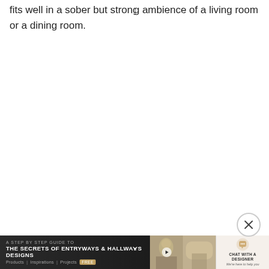fits well in a sober but strong ambience of a living room or a dining room.
[Figure (screenshot): Advertisement banner at the bottom: 'A Step by Step Guide to The Secrets of Entryways & Hallways Designs' with decorative interior images and a 'Chat with a Designer' button on the right. A close (X) button appears above the banner.]